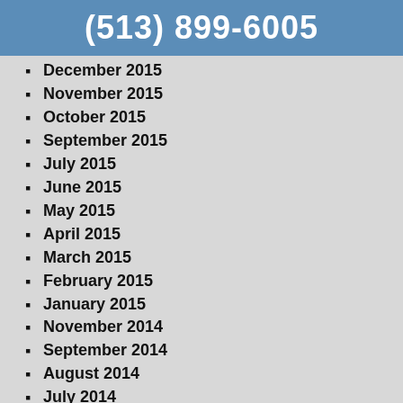(513) 899-6005
December 2015
November 2015
October 2015
September 2015
July 2015
June 2015
May 2015
April 2015
March 2015
February 2015
January 2015
November 2014
September 2014
August 2014
July 2014
June 2014
January 2014
December 2013
November 2013